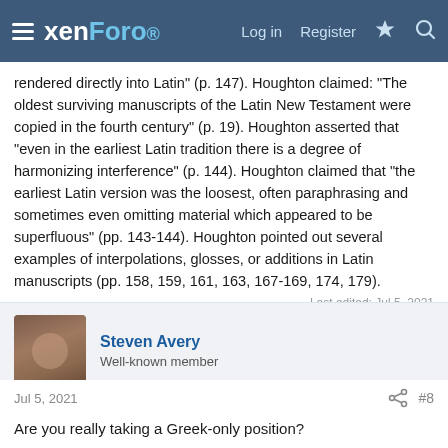xenForo — Log in  Register
rendered directly into Latin” (p. 147). Houghton claimed: “The oldest surviving manuscripts of the Latin New Testament were copied in the fourth century” (p. 19). Houghton asserted that “even in the earliest Latin tradition there is a degree of harmonizing interference” (p. 144). Houghton claimed that “the earliest Latin version was the loosest, often paraphrasing and sometimes even omitting material which appeared to be superfluous” (pp. 143-144). Houghton pointed out several examples of interpolations, glosses, or additions in Latin manuscripts (pp. 158, 159, 161, 163, 167-169, 174, 179).
Last edited: Jul 5, 2021
Steven Avery
Well-known member
Jul 5, 2021  #8
Are you really taking a Greek-only position?